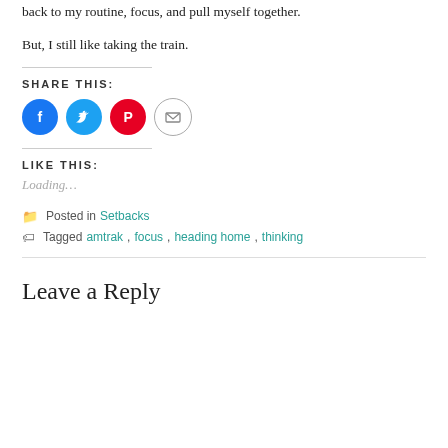back to my routine, focus, and pull myself together.
But, I still like taking the train.
SHARE THIS:
[Figure (infographic): Four social share icons: Facebook (blue circle), Twitter (light blue circle), Pinterest (red circle), Email (gray outlined circle)]
LIKE THIS:
Loading...
Posted in Setbacks
Tagged amtrak, focus, heading home, thinking
Leave a Reply